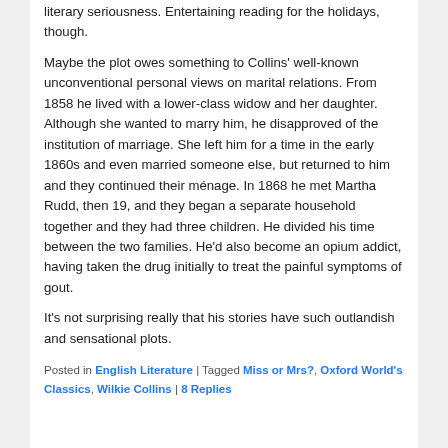literary seriousness. Entertaining reading for the holidays, though.
Maybe the plot owes something to Collins' well-known unconventional personal views on marital relations. From 1858 he lived with a lower-class widow and her daughter. Although she wanted to marry him, he disapproved of the institution of marriage. She left him for a time in the early 1860s and even married someone else, but returned to him and they continued their ménage. In 1868 he met Martha Rudd, then 19, and they began a separate household together and they had three children. He divided his time between the two families. He'd also become an opium addict, having taken the drug initially to treat the painful symptoms of gout.
It's not surprising really that his stories have such outlandish and sensational plots.
Posted in English Literature | Tagged Miss or Mrs?, Oxford World's Classics, Wilkie Collins | 8 Replies